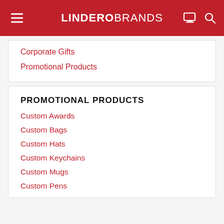LINDEROBRANDS
Corporate Gifts
Promotional Products
PROMOTIONAL PRODUCTS
Custom Awards
Custom Bags
Custom Hats
Custom Keychains
Custom Mugs
Custom Pens